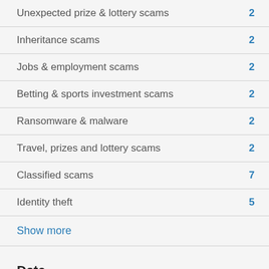Unexpected prize & lottery scams 2
Inheritance scams 2
Jobs & employment scams 2
Betting & sports investment scams 2
Ransomware & malware 2
Travel, prizes and lottery scams 2
Classified scams 7
Identity theft 5
Show more
Date